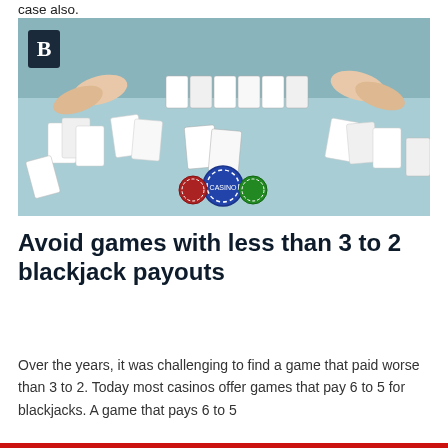case also.
[Figure (photo): A blackjack table scene from above showing a dealer's hands and playing cards spread across a green felt casino table, with casino chips visible.]
Avoid games with less than 3 to 2 blackjack payouts
Over the years, it was challenging to find a game that paid worse than 3 to 2. Today most casinos offer games that pay 6 to 5 for blackjacks. A game that pays 6 to 5